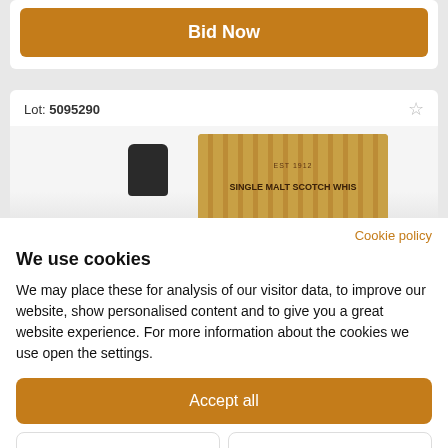Bid Now
Lot: 5095290
[Figure (photo): Whisky bottle cap (black) and a Single Malt Scotch Whisky box with gold/amber coloring showing partial label text]
Cookie policy
We use cookies
We may place these for analysis of our visitor data, to improve our website, show personalised content and to give you a great website experience. For more information about the cookies we use open the settings.
Accept all
Deny
No, adjust